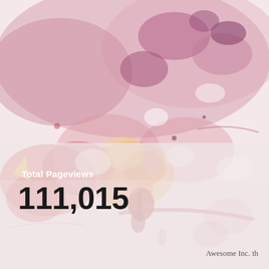[Figure (illustration): Abstract watercolor artwork with pink, red, orange, and purple fluid splashes and blotches covering the full page background.]
Total Pageviews
111,015
Awesome Inc. th